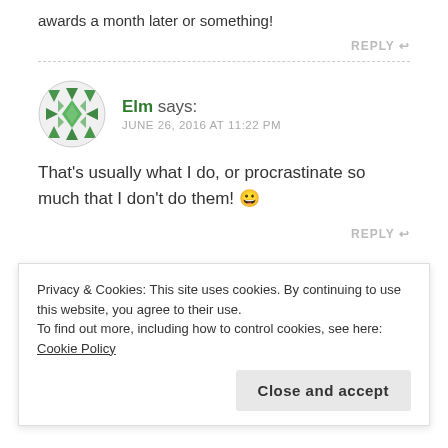awards a month later or something!
REPLY
Elm says: JUNE 26, 2016 AT 11:22 PM
That's usually what I do, or procrastinate so much that I don't do them! 😀
REPLY
Privacy & Cookies: This site uses cookies. By continuing to use this website, you agree to their use. To find out more, including how to control cookies, see here: Cookie Policy
Close and accept